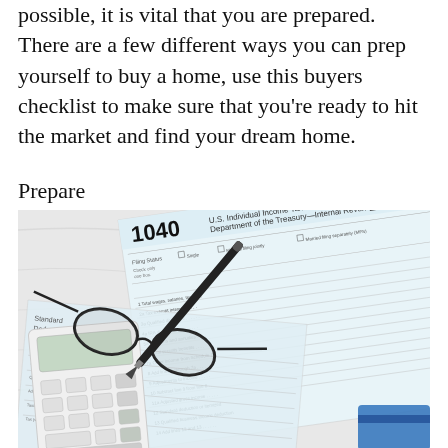possible, it is vital that you are prepared. There are a few different ways you can prep yourself to buy a home, use this buyers checklist to make sure that you're ready to hit the market and find your dream home.
Prepare
[Figure (photo): A photo showing a U.S. 1040 Individual Income Tax Return form for 2019, with glasses, a pen, a calculator, and additional tax documents arranged on a white marble surface.]